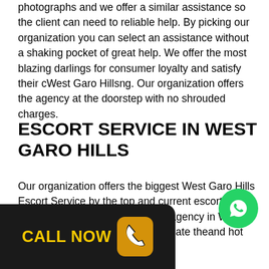photographs and we offer a similar assistance so the client can need to reliable help. By picking our organization you can select an assistance without a shaking pocket of great help. We offer the most blazing darlings for consumer loyalty and satisfy their cWest Garo Hillsng. Our organization offers the agency at the doorstep with no shrouded charges.
ESCORT SERVICE IN WEST GARO HILLS
Our organization offers the biggest West Garo Hills Escort Service by the top and current escort girls in West Garo Hills. With our escort agency in West Garo Hills, customers can appreciate the and hot girls for the of easure. Thusly, you are exceptional with top ency clients can pick their
[Figure (other): Black banner with yellow CALL NOW text and yellow phone icon button]
[Figure (other): Green WhatsApp circle icon]